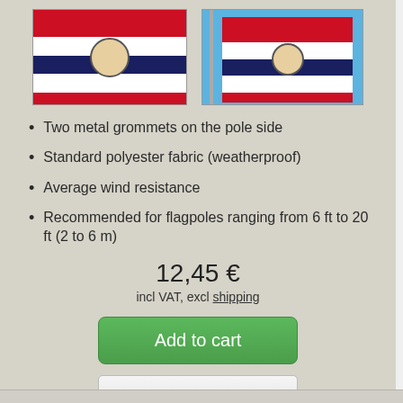[Figure (photo): Two Missouri state flags: one shown flat/horizontal and one shown waving on a flagpole against a blue sky background]
Two metal grommets on the pole side
Standard polyester fabric (weatherproof)
Average wind resistance
Recommended for flagpoles ranging from 6 ft to 20 ft (2 to 6 m)
12,45 €
incl VAT, excl shipping
Add to cart
View details